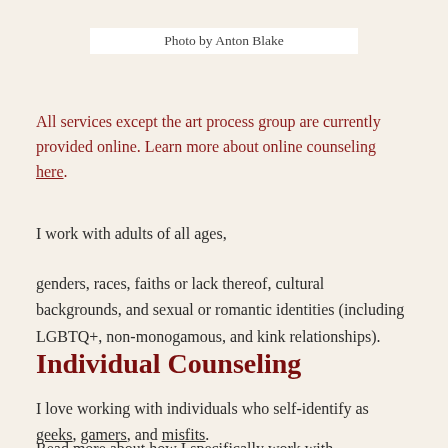Photo by Anton Blake
All services except the art process group are currently provided online. Learn more about online counseling here.
I work with adults of all ages,
genders, races, faiths or lack thereof, cultural backgrounds, and sexual or romantic identities (including LGBTQ+, non-monogamous, and kink relationships).
Individual Counseling
I love working with individuals who self-identify as geeks, gamers, and misfits.
Read more about how I specifically work with